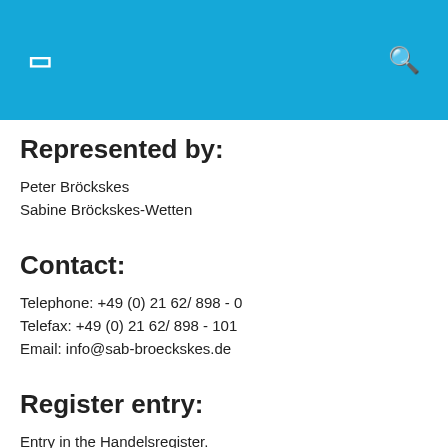Represented by:
Peter Bröckskes
Sabine Bröckskes-Wetten
Contact:
Telephone: +49 (0) 21 62/ 898 - 0
Telefax: +49 (0) 21 62/ 898 - 101
Email: info@sab-broeckskes.de
Register entry:
Entry in the Handelsregister.
Registering court: Mönchengladbach
Registration number: HRB 9529
VAT:
VAT Id number according to Sec. 27 a German Value